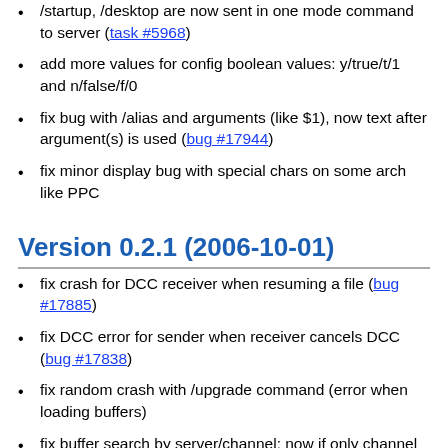/startup, /desktop are now sent in one mode command to server (task #5968)
add more values for config boolean values: y/true/t/1 and n/false/f/0
fix bug with /alias and arguments (like $1), now text after argument(s) is used (bug #17944)
fix minor display bug with special chars on some arch like PPC
Version 0.2.1 (2006-10-01)
fix crash for DCC receiver when resuming a file (bug #17885)
fix DCC error for sender when receiver cancels DCC (bug #17838)
fix random crash with /upgrade command (error when loading buffers)
fix buffer search by server/channel: now if only channel is specified, a channel of another server can be found
fix highlight for DCC, invite and notice: when a